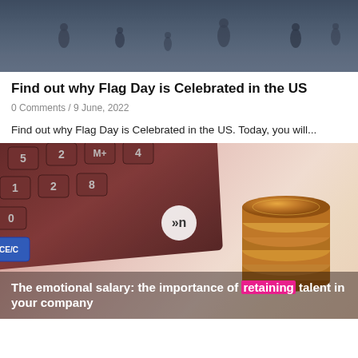[Figure (photo): People walking in what appears to be a busy public space, dark bluish-gray toned photo]
Find out why Flag Day is Celebrated in the US
0 Comments / 9 June, 2022
Find out why Flag Day is Celebrated in the US. Today, you will...
[Figure (photo): Calculator keys and stacked coins in warm pink/rose tone, with a circular logo and caption overlay reading: The emotional salary: the importance of retaining talent in your company]